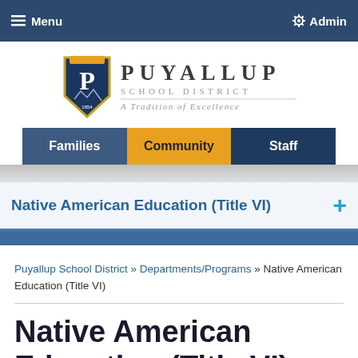≡ Menu    ⚙ Admin
[Figure (logo): Puyallup School District shield logo with letter P and mountains, alongside text PUYALLUP SCHOOL DISTRICT A Tradition of Excellence]
Families | Community | Staff
Native American Education (Title VI)
Puyallup School District » Departments/Programs » Native American Education (Title VI)
Native American Education (Title VI)